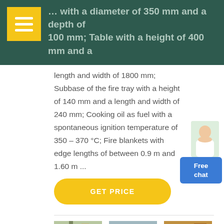… with a diameter of 350 mm and a depth of 100 mm; Table with a height of 400 mm and a length and width of 1800 mm; Subbase of the fire tray with a height of 140 mm and a length and width of 240 mm; Cooking oil as fuel with a spontaneous ignition temperature of 350 – 370 °C; Fire blankets with edge lengths of between 0.9 m and 1.60 m ...
length and width of 1800 mm; Subbase of the fire tray with a height of 140 mm and a length and width of 240 mm; Cooking oil as fuel with a spontaneous ignition temperature of 350 – 370 °C; Fire blankets with edge lengths of between 0.9 m and 1.60 m ...
[Figure (photo): Customer service representative / chat avatar figure]
Free chat
GET PRICE
[Figure (photo): Industrial equipment photo 1]
[Figure (photo): Industrial equipment photo 2]
[Figure (photo): Industrial equipment photo 3]